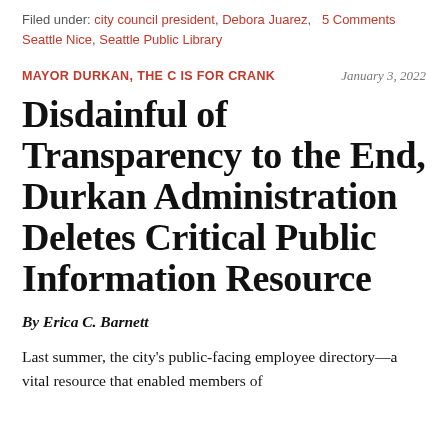Filed under: city council president, Debora Juarez, 5 Comments Seattle Nice, Seattle Public Library
MAYOR DURKAN, THE C IS FOR CRANK
January 3, 2022
Disdainful of Transparency to the End, Durkan Administration Deletes Critical Public Information Resource
By Erica C. Barnett
Last summer, the city's public-facing employee directory—a vital resource that enabled members of